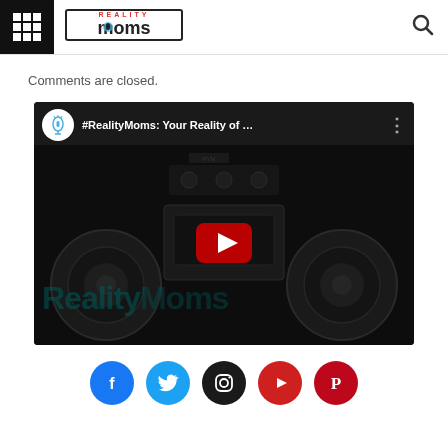Reality Moms — navigation header with menu, logo, and search icon
Comments are closed.
[Figure (screenshot): Embedded YouTube video thumbnail for #RealityMoms: Your Reality of ... showing a dark boombox/radio image with Reality Moms watermark text and a YouTube play button]
[Figure (infographic): Row of five social media icons: Facebook (blue), Twitter (light blue), Instagram (dark/black), YouTube (red), Pinterest (dark red)]